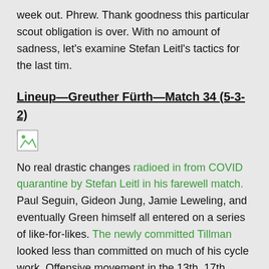week out. Phrew. Thank goodness this particular scout obligation is over. With no amount of sadness, let's examine Stefan Leitl's tactics for the last tim.
Lineup—Greuther Fürth—Match 34 (5-3-2)
[Figure (other): Broken image placeholder icon]
No real drastic changes radioed in from COVID quarantine by Stefan Leitl in his farewell match. Paul Seguin, Gideon Jung, Jamie Leweling, and eventually Green himself all entered on a series of like-for-likes. The newly committed Tillman looked less than committed on much of his cycle work. Offensive movement in the 13th, 17th, 21st, 47th, 66th, and 85th proved especially poor.